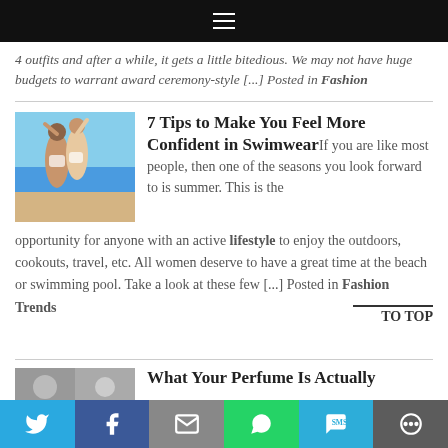≡
4 outfits and after a while, it gets a little bitedious. We may not have huge budgets to warrant award ceremony-style [...] Posted in Fashion
7 Tips to Make You Feel More Confident in Swimwear
If you are like most people, then one of the seasons you look forward to is summer. This is the opportunity for anyone with an active lifestyle to enjoy the outdoors, cookouts, travel, etc. All women deserve to have a great time at the beach or swimming pool. Take a look at these few [...] Posted in Fashion Trends
What Your Perfume Is Actually
Twitter | Facebook | Email | WhatsApp | SMS | More